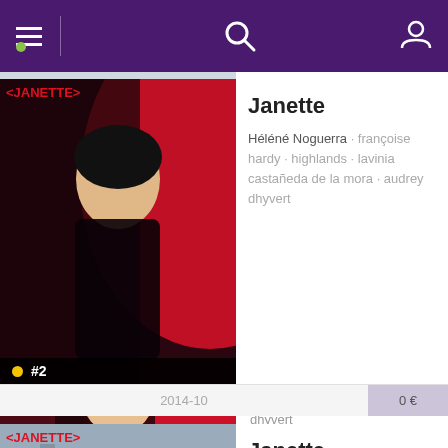[Figure (screenshot): Mobile app navigation bar with purple background, hamburger menu icon with green dot, vertical divider, search icon, and user profile icon]
[Figure (photo): Magazine cover showing a woman in red dress - issue #3]
The Dø · londres · the dø · roger moore · cake design · le horla · sonia da silva
2014-11   0 €
[Figure (photo): Janette magazine cover showing a woman in black lingerie - issue #2]
Janette
Héléné Noguerra · françoise hardy · highlands · lavinia castañeda de la mora · audrey dhyvert
2014-10   0 €
[Figure (photo): Janette magazine cover showing a woman with red boxing gloves - issue #1]
Janette
Lilly Wood and The Prick · romain duris · brigitte bardot · nili hadida · carolyn gobran
2014-09   0 €